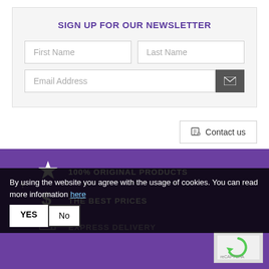SIGN UP FOR OUR NEWSLETTER
First Name
Last Name
Email Address
Contact us
100% ORIGINAL PRODUCTS
THE BEST PRICES
EXPRESS DELIVERY
By using the website you agree with the usage of cookies. You can read more information here
14 D... N POLICY